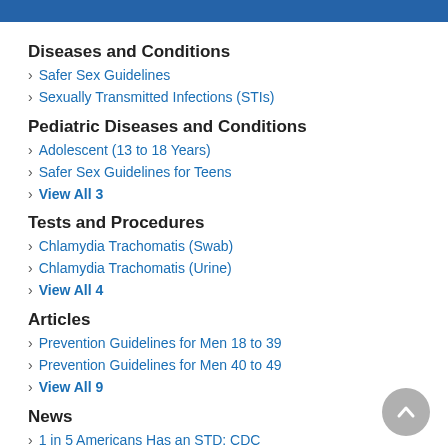Diseases and Conditions
Safer Sex Guidelines
Sexually Transmitted Infections (STIs)
Pediatric Diseases and Conditions
Adolescent (13 to 18 Years)
Safer Sex Guidelines for Teens
View All 3
Tests and Procedures
Chlamydia Trachomatis (Swab)
Chlamydia Trachomatis (Urine)
View All 4
Articles
Prevention Guidelines for Men 18 to 39
Prevention Guidelines for Men 40 to 49
View All 9
News
1 in 5 Americans Has an STD: CDC
4 in 10 Transgender Women Have HIV: CDC
View All 45